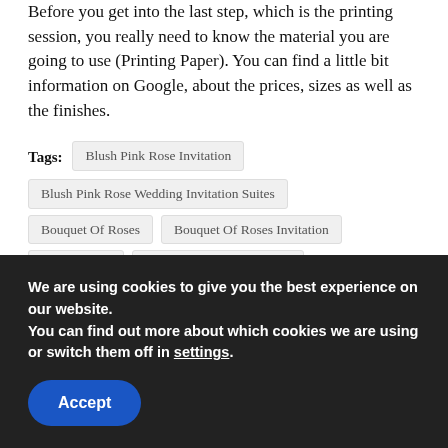Before you get into the last step, which is the printing session, you really need to know the material you are going to use (Printing Paper). You can find a little bit information on Google, about the prices, sizes as well as the finishes.
Tags: Blush Pink Rose Invitation | Blush Pink Rose Wedding Invitation Suites | Bouquet Of Roses | Bouquet Of Roses Invitation | Garden Rose | Watercolor Rose Invitation | Watercolor Rose Wedding Invitation
We are using cookies to give you the best experience on our website.
You can find out more about which cookies we are using or switch them off in settings.
Accept